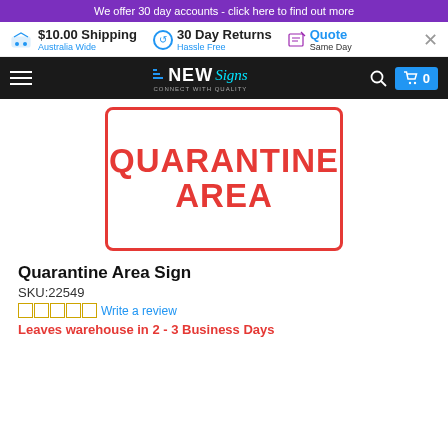We offer 30 day accounts - click here to find out more
$10.00 Shipping Australia Wide | 30 Day Returns Hassle Free | Quote Same Day
[Figure (screenshot): NEW Signs logo with navigation bar]
[Figure (other): Quarantine Area Sign product image - white background with red border and red bold text reading QUARANTINE AREA]
Quarantine Area Sign
SKU:22549
Write a review
Leaves warehouse in 2 - 3 Business Days